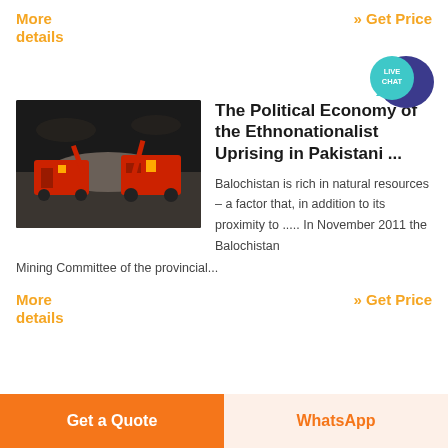More details
» Get Price
[Figure (illustration): Live Chat speech bubble icon in teal and dark blue]
[Figure (photo): Industrial mining machinery with red equipment against a dark background]
The Political Economy of the Ethnonationalist Uprising in Pakistani ...
Balochistan is rich in natural resources – a factor that, in addition to its proximity to ..... In November 2011 the Balochistan Mining Committee of the provincial...
More details
» Get Price
Get a Quote
WhatsApp